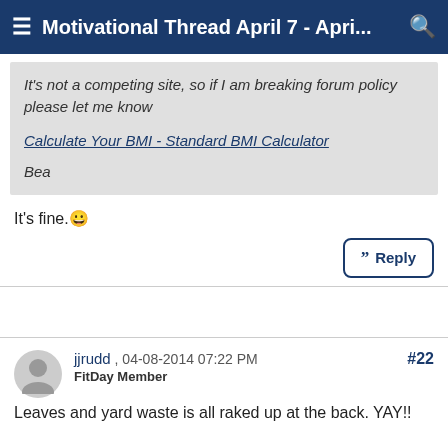Motivational Thread April 7 - Apri...
It's not a competing site, so if I am breaking forum policy please let me know

Calculate Your BMI - Standard BMI Calculator

Bea
It's fine. 🙂
jjrudd , 04-08-2014 07:22 PM
FitDay Member
#22
Leaves and yard waste is all raked up at the back. YAY!!